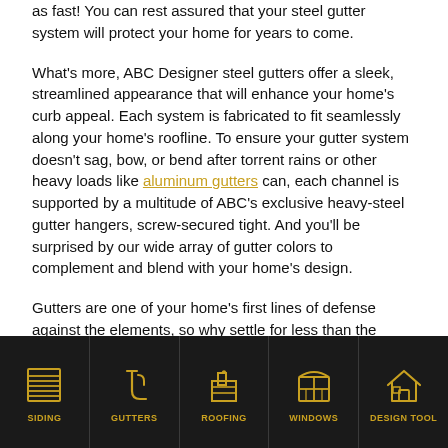as fast! You can rest assured that your steel gutter system will protect your home for years to come.
What's more, ABC Designer steel gutters offer a sleek, streamlined appearance that will enhance your home's curb appeal. Each system is fabricated to fit seamlessly along your home's roofline. To ensure your gutter system doesn't sag, bow, or bend after torrent rains or other heavy loads like aluminum gutters can, each channel is supported by a multitude of ABC's exclusive heavy-steel gutter hangers, screw-secured tight. And you'll be surprised by our wide array of gutter colors to complement and blend with your home's design.
Gutters are one of your home's first lines of defense against the elements, so why settle for less than the best? Just say "no thanks" to aluminum gutters. Insist on steel, and demand
[Figure (other): Bottom navigation bar with dark background featuring five icon+label items: SIDING (window/siding icon), GUTTERS (gutter/tool icon), ROOFING (chimney/roofing icon), WINDOWS (window icon), DESIGN TOOL (house icon). Icons and labels are in golden/amber color.]